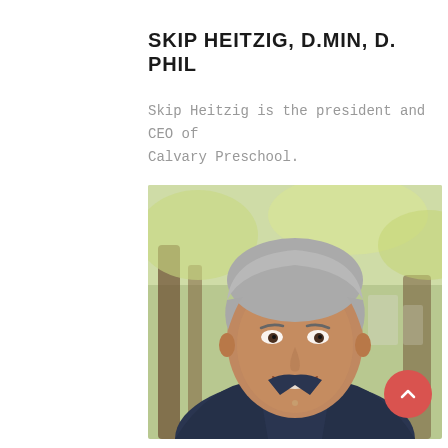SKIP HEITZIG, D.MIN, D. PHIL
Skip Heitzig is the president and CEO of Calvary Preschool.
[Figure (photo): Headshot of Skip Heitzig, a middle-aged man with gray hair, smiling, wearing a dark denim jacket, photographed outdoors with trees in the background.]